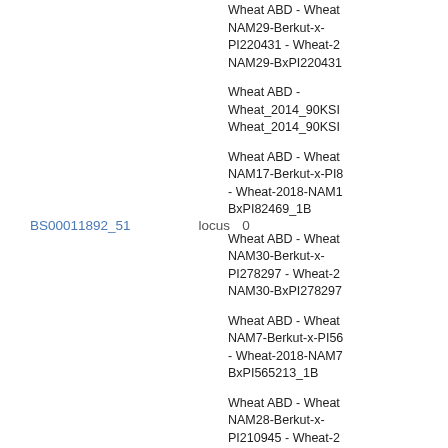BS00011892_51   locus   0
Wheat ABD - Wheat NAM29-Berkut-x-PI220431 - Wheat-2 NAM29-BxPI220431
Wheat ABD - Wheat_2014_90KSI Wheat_2014_90KSI
Wheat ABD - Wheat NAM17-Berkut-x-PI8 - Wheat-2018-NAM1 BxPI82469_1B
Wheat ABD - Wheat NAM30-Berkut-x-PI278297 - Wheat-2 NAM30-BxPI278297
Wheat ABD - Wheat NAM7-Berkut-x-PI56 - Wheat-2018-NAM7 BxPI565213_1B
Wheat ABD - Wheat NAM28-Berkut-x-PI210945 - Wheat-2 NAM28-BxPI210945
Wheat ABD - Wheat NAM24-Berkut-x-PI192147 - Wheat-2